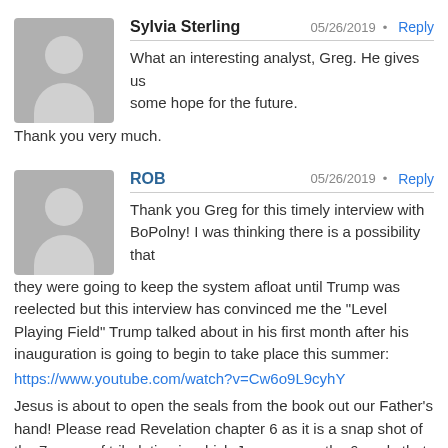Sylvia Sterling
05/26/2019 · Reply
What an interesting analyst, Greg. He gives us some hope for the future.
Thank you very much.
ROB
05/26/2019 · Reply
Thank you Greg for this timely interview with BoPolny! I was thinking there is a possibility that they were going to keep the system afloat until Trump was reelected but this interview has convinced me the "Level Playing Field" Trump talked about in his first month after his inauguration is going to begin to take place this summer:
https://www.youtube.com/watch?v=Cw6o9L9cyhY
Jesus is about to open the seals from the book out our Father's hand! Please read Revelation chapter 6 as it is a snap shot of the 7 years of tribulation in which Jesus opens the 6 seals that bring us to the end of the tribulation and the beginning of the